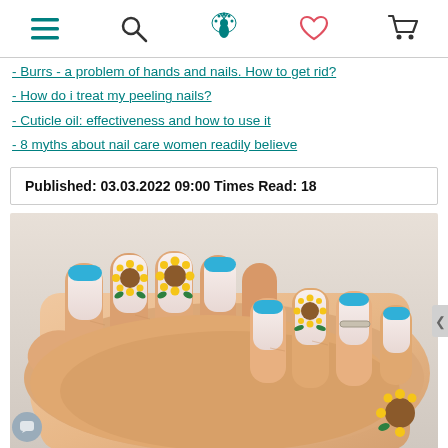Navigation bar with menu, search, logo (peacock), heart/wishlist, and cart icons
- Burrs - a problem of hands and nails. How to get rid?
- How do i treat my peeling nails?
- Cuticle oil: effectiveness and how to use it
- 8 myths about nail care women readily believe
Published: 03.03.2022 09:00 Times Read: 18
[Figure (photo): Close-up photo of two hands with manicured nails featuring blue French tips and sunflower nail art designs on a light background]